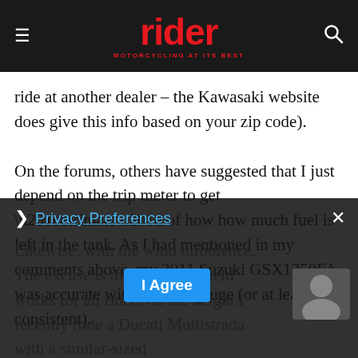rider MOTORCYCLING AT ITS BEST
ride at another dealer – the Kawasaki website does give this info based on your zip code).
On the forums, others have suggested that I just depend on the trip meter to get “estimate” of how how much fuel is left in the tank. As I had mentioned in my comments above, my 2011 Suzuki GSX1250FA was accurate with the fuel gauge (or at least consistent).
Likewise, with the wind turbulence. The excuse is that no windshield works for all riders based on the height... I recently rode a Ducati Multistrada with a similar-sized
Privacy Preferences
I Agree